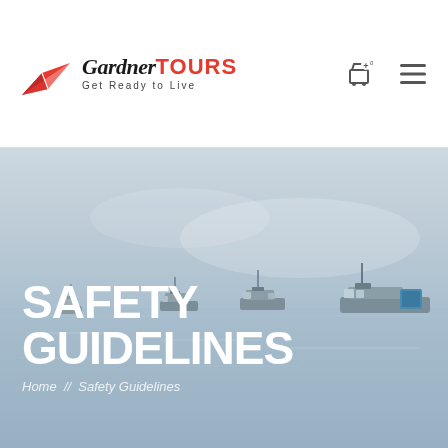Gardner TOURS — Get Ready to Live
[Figure (photo): Hero banner image showing boats moored on calm misty water with hazy sky, used as background for Safety Guidelines page header]
SAFETY GUIDELINES
Home // Safety Guidelines